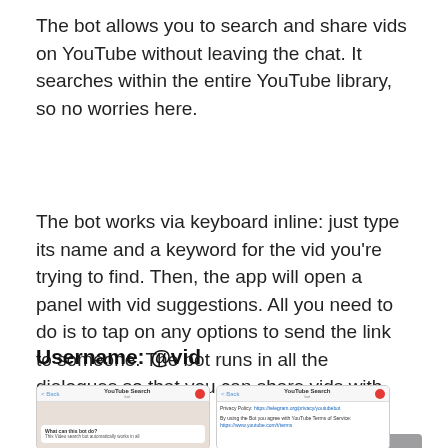The bot allows you to search and share vids on YouTube without leaving the chat. It searches within the entire YouTube library, so no worries here.
The bot works via keyboard inline: just type its name and a keyword for the vid you’re trying to find. Then, the app will open a panel with vid suggestions. All you need to do is to tap on any options to send the link to someone. The bot runs in all the dialogues so that you can share vids with anyone.
Username: @vid
[Figure (screenshot): Two smartphone screenshots showing YouTube Search bot interface in a chat app. Left screenshot shows a chat bubble with 'What can this bot do? This Video search bot automatically works in all'. Right screenshot shows privacy policy text and YouTube Terms of Service links.]